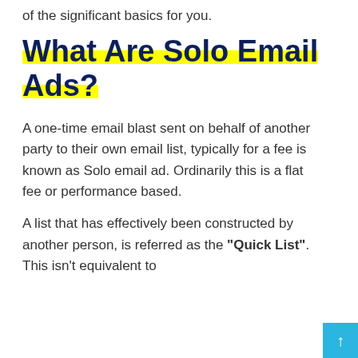of the significant basics for you.
What Are Solo Email Ads?
A one-time email blast sent on behalf of another party to their own email list, typically for a fee is known as Solo email ad. Ordinarily this is a flat fee or performance based.
A list that has effectively been constructed by another person, is referred as the “Quick List”. This isn’t equivalent to